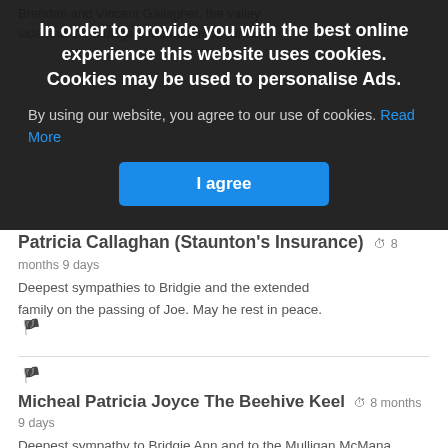Brendan and Vincent Gallagher, the valley side and the Mulligan, McManamon families
[Figure (screenshot): Cookie consent overlay popup with dark background, title 'In order to provide you with the best online experience this website uses cookies. Cookies may be used to personalise Ads.', body text with Read More link in blue, and blue 'I agree' button]
Patricia Callaghan (Staunton's Insurance)
Deepest sympathies to Bridgie and the extended family on the passing of Joe. May he rest in peace.
8 months 9 days
Micheal Patricia Joyce The Beehive Keel
8 months 9 days
Deepest sympathy to Bridgie Ann and to the Mulligan,McMana mon families on the passing of Joe , May Joe Rest In Peace